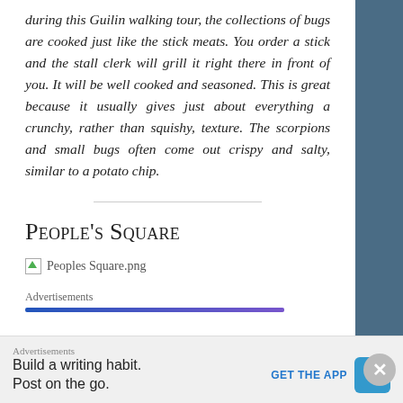during this Guilin walking tour, the collections of bugs are cooked just like the stick meats. You order a stick and the stall clerk will grill it right there in front of you. It will be well cooked and seasoned. This is great because it usually gives just about everything a crunchy, rather than squishy, texture. The scorpions and small bugs often come out crispy and salty, similar to a potato chip.
People's Square
[Figure (other): Broken image placeholder labeled 'Peoples Square.png']
Advertisements
Advertisements
Build a writing habit. Post on the go.
GET THE APP